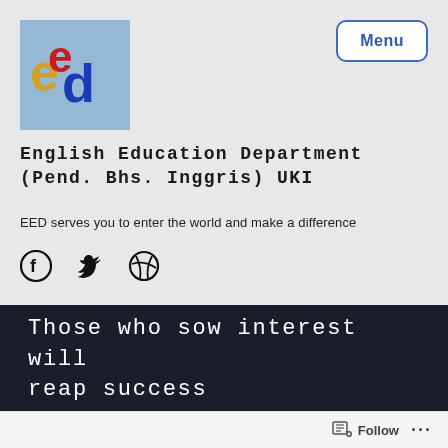[Figure (logo): English Education Department logo with stylized letters 'e', 'e', 'd' in red, yellow, and blue on a light blue background]
English Education Department (Pend. Bhs. Inggris) UKI
EED serves you to enter the world and make a difference
[Figure (other): Social media icons: Facebook, Twitter, Dribbble]
Those who sow interest will reap success
20 NOV
20 COMMENTS